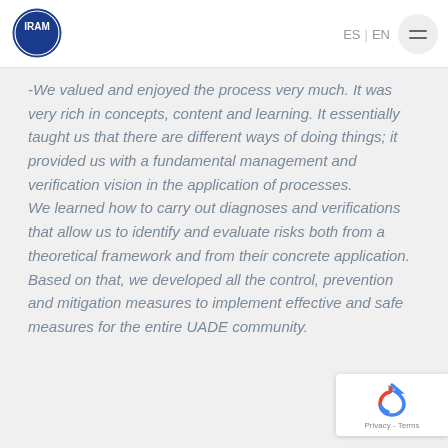IRAM | ES | EN
-We valued and enjoyed the process very much. It was very rich in concepts, content and learning. It essentially taught us that there are different ways of doing things; it provided us with a fundamental management and verification vision in the application of processes.
We learned how to carry out diagnoses and verifications that allow us to identify and evaluate risks both from a theoretical framework and from their concrete application. Based on that, we developed all the control, prevention and mitigation measures to implement effective and safe measures for the entire UADE community.
[Figure (logo): reCAPTCHA badge with Privacy and Terms links]